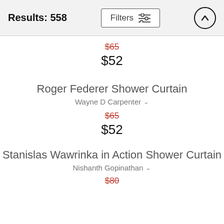Results: 558
$65 (strikethrough) $52
Roger Federer Shower Curtain
Wayne D Carpenter
$65 (strikethrough) $52
Stanislas Wawrinka in Action Shower Curtain
Nishanth Gopinathan
$80